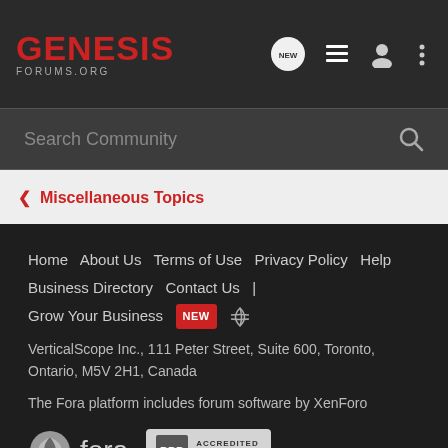GENESIS FORUMS.ORG
Search Community
< Miscellaneous Topics
Home | About Us | Terms of Use | Privacy Policy | Help | Business Directory | Contact Us | Grow Your Business NEW [RSS]
VerticalScope Inc., 111 Peter Street, Suite 600, Toronto, Ontario, M5V 2H1, Canada
The Fora platform includes forum software by XenForo
[Figure (logo): Fora logo and BBB Accredited Business badge]